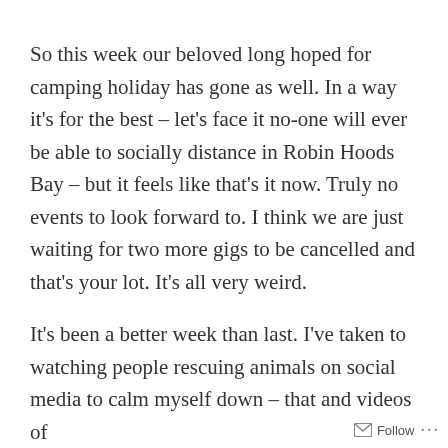So this week our beloved long hoped for camping holiday has gone as well. In a way it's for the best – let's face it no-one will ever be able to socially distance in Robin Hoods Bay – but it feels like that's it now. Truly no events to look forward to. I think we are just waiting for two more gigs to be cancelled and that's your lot. It's all very weird.
It's been a better week than last. I've taken to watching people rescuing animals on social media to calm myself down – that and videos of
Follow ...